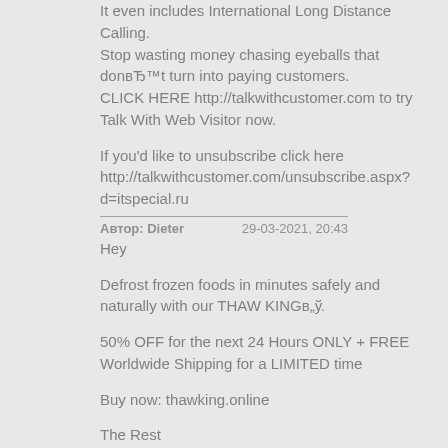It even includes International Long Distance Calling. Stop wasting money chasing eyeballs that don't turn into paying customers. CLICK HERE http://talkwithcustomer.com to try Talk With Web Visitor now.
If you'd like to unsubscribe click here http://talkwithcustomer.com/unsubscribe.aspx?d=itspecial.ru
Автор: Dieter    29-03-2021, 20:43
Hey
Defrost frozen foods in minutes safely and naturally with our THAW KINGв„ў.
50% OFF for the next 24 Hours ONLY + FREE Worldwide Shipping for a LIMITED time
Buy now: thawking.online
The Rest